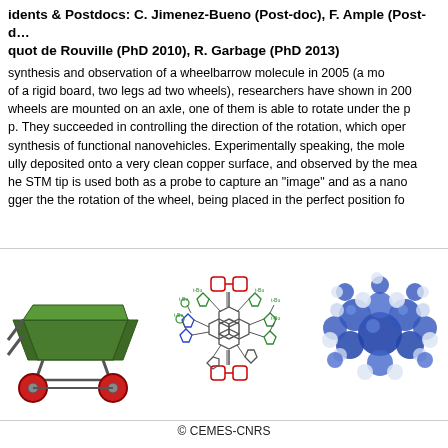…idents & Postdocs: C. Jimenez-Bueno (Post-doc), F. Ample (Post-d…, …quot de Rouville (PhD 2010), R. Garbage (PhD 2013)
…synthesis and observation of a wheelbarrow molecule in 2005 (a mo… of a rigid board, two legs ad two wheels), researchers have shown in 200… wheels are mounted on an axle, one of them is able to rotate under the p… p. They succeeded in controlling the direction of the rotation, which oper… synthesis of functional nanovehicles. Experimentally speaking, the mole… ully deposited onto a very clean copper surface, and observed by the mea… he STM tip is used both as a probe to capture an "image" and as a nano… gger the the rotation of the wheel, being placed in the perfect position fo…
[Figure (illustration): 3D render of a green wheelbarrow toy with red wheels]
[Figure (illustration): Chemical structure diagram of a wheelbarrow molecule with colored functional groups: red aromatic rings at top and bottom, green tert-butyl groups, blue para-substituted phenyl groups, gray central polycyclic core]
[Figure (illustration): 3D molecular model showing blue and white sphere representation of the wheelbarrow molecule]
© CEMES-CNRS